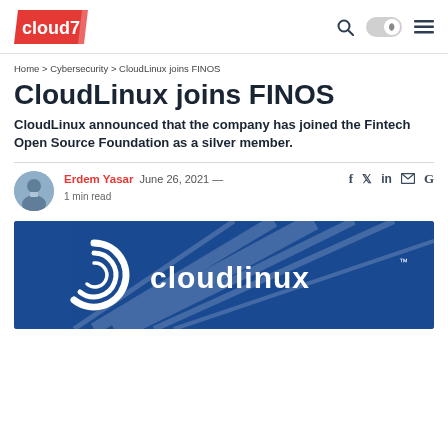cloud7 [logo] [search] [dark mode toggle] [menu]
Home > Cybersecurity > CloudLinux joins FINOS
CloudLinux joins FINOS
CloudLinux announced that the company has joined the Fintech Open Source Foundation as a silver member.
Erdem Yasar   June 26, 2021 —   1 min read
[Figure (photo): CloudLinux logo on a dark blue background with abstract ray/streak design]